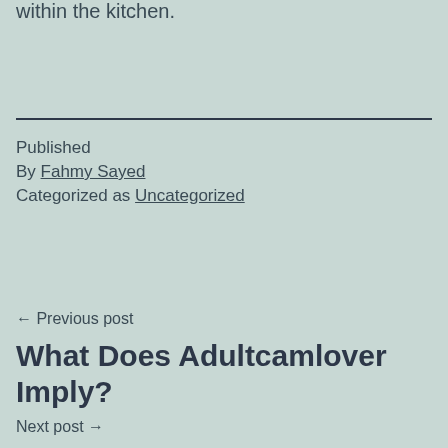within the kitchen.
Published
By Fahmy Sayed
Categorized as Uncategorized
← Previous post
What Does Adultcamlover Imply?
Next post →